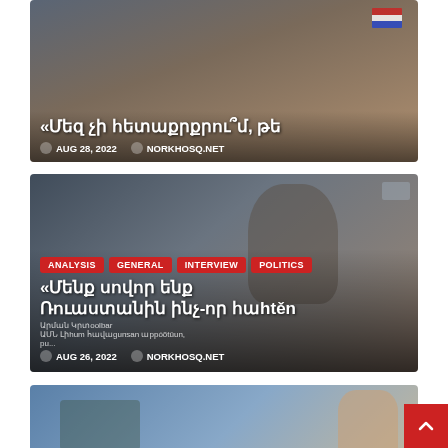[Figure (screenshot): Article card with photo of man in suit, Armenian text title starting with «Մեզ չի հետաքրքրու՞մ, թե, dated AUG 28 2022, by NORKHOSQ.NET]
[Figure (screenshot): Article card with photo of man, tags ANALYSIS, GENERAL, INTERVIEW, POLITICS, Armenian text title «Մենք սովոր ենք Ռուաստանինինչ-որ հաhtěn, dated AUG 26 2022, by NORKHOSQ.NET]
[Figure (screenshot): Article card with illustrated image, tags ANALYSIS, POLITICS, partial Armenian text title visible at bottom]